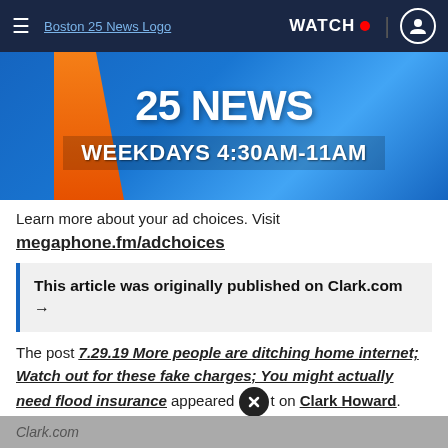≡  Boston 25 News Logo  WATCH • [user icon]
[Figure (screenshot): Boston 25 News advertisement banner showing '25 NEWS' logo and text 'WEEKDAYS 4:30AM-11AM' on a blue background with orange/gold stripe]
Learn more about your ad choices. Visit
megaphone.fm/adchoices
This article was originally published on Clark.com →
The post 7.29.19 More people are ditching home internet; Watch out for these fake charges; You might actually need flood insurance appeared first on Clark Howard.
Clark.com